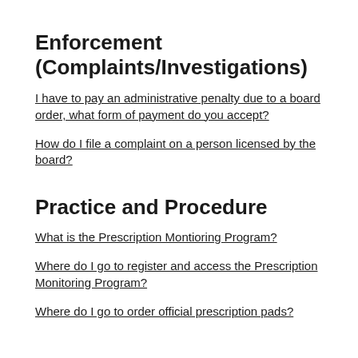Enforcement (Complaints/Investigations)
I have to pay an administrative penalty due to a board order, what form of payment do you accept?
How do I file a complaint on a person licensed by the board?
Practice and Procedure
What is the Prescription Montioring Program?
Where do I go to register and access the Prescription Monitoring Program?
Where do I go to order official prescription pads?